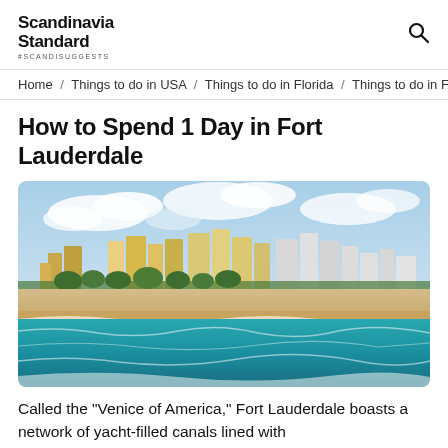Scandinavia Standard #SCANDISUGGESTS
Home / Things to do in USA / Things to do in Florida / Things to do in F
How to Spend 1 Day in Fort Lauderdale
[Figure (photo): Aerial/coastal view of Fort Lauderdale beach with turquoise ocean waves in foreground, sandy beach, palm trees, and city skyline with high-rise buildings under a blue sky with clouds.]
Called the “Venice of America,” Fort Lauderdale boasts a network of yacht-filled canals lined with